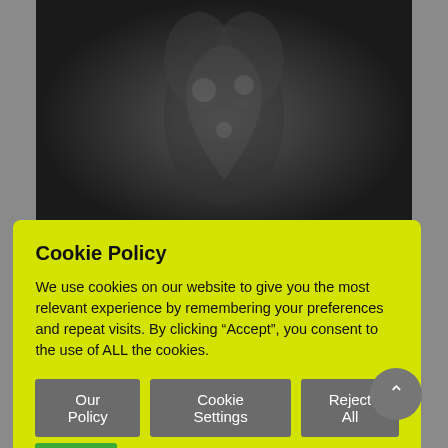[Figure (photo): Aerial or overhead dark photograph showing figures/people, partially obscured, dark background with a heart-like silhouette shape visible in the center.]
Cookie Policy
We use cookies on our website to give you the most relevant experience by remembering your preferences and repeat visits. By clicking “Accept”, you consent to the use of ALL the cookies.
Our Policy | Cookie Settings | Reject All | Accept